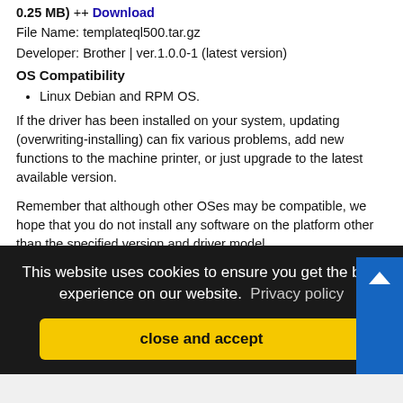0.25 MB) ++ Download
File Name: templateql500.tar.gz
Developer: Brother | ver.1.0.0-1 (latest version)
OS Compatibility
Linux Debian and RPM OS.
If the driver has been installed on your system, updating (overwriting-installing) can fix various problems, add new functions to the machine printer, or just upgrade to the latest available version.
Remember that although other OSes may be compatible, we hope that you do not install any software on the platform other than the specified version and driver model.
If you have decided that this driver package is what you
This website uses cookies to ensure you get the best experience on our website.  Privacy policy
close and accept